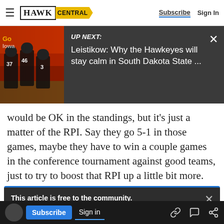HAWK CENTRAL — Subscribe | Sign In
[Figure (screenshot): UP NEXT banner with Iowa Hawkeyes football players image and article preview: 'Leistikow: Why the Hawkeyes will stay calm in South Dakota State ...']
would be OK in the standings, but it's just a matter of the RPI. Say they go 5-1 in those games, maybe they have to win a couple games in the conference tournament against good teams, just to try to boost that RPI up a little bit more. That
This article is free to the community.
Only 99¢ for the first month. Save 86%.
Subscribe now
Subscribe | Sign in | are going to hurt them in the RPI, but on the other